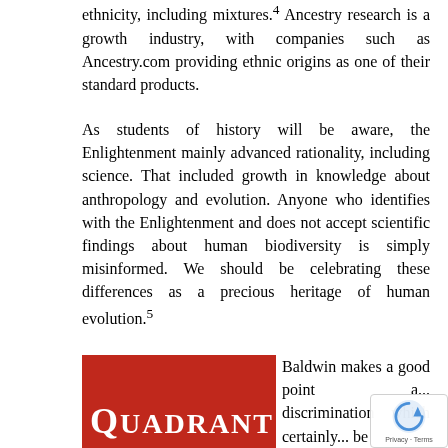ethnicity, including mixtures.⁴ Ancestry research is a growth industry, with companies such as Ancestry.com providing ethnic origins as one of their standard products.
As students of history will be aware, the Enlightenment mainly advanced rationality, including science. That included growth in knowledge about anthropology and evolution. Anyone who identifies with the Enlightenment and does not accept scientific findings about human biodiversity is simply misinformed. We should be celebrating these differences as a precious heritage of human evolution.⁵
[Figure (logo): Quadrant magazine logo — red background with white text reading QUADRANT]
Baldwin makes a good point a... discrimination which certainly... be